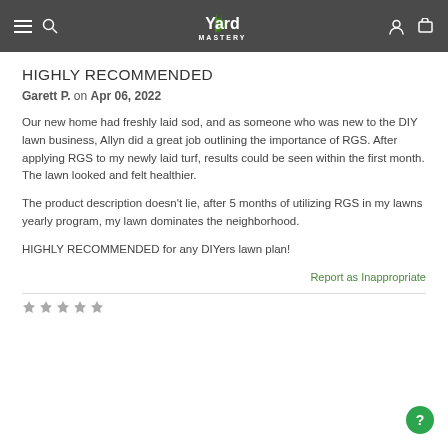Yard Mastery
HIGHLY RECOMMENDED
Garett P. on Apr 06, 2022
Our new home had freshly laid sod, and as someone who was new to the DIY lawn business, Allyn did a great job outlining the importance of RGS. After applying RGS to my newly laid turf, results could be seen within the first month. The lawn looked and felt healthier.
The product description doesn't lie, after 5 months of utilizing RGS in my lawns yearly program, my lawn dominates the neighborhood.
HIGHLY RECOMMENDED for any DIYers lawn plan!
Report as Inappropriate
[Figure (other): Star rating icons row at the bottom]